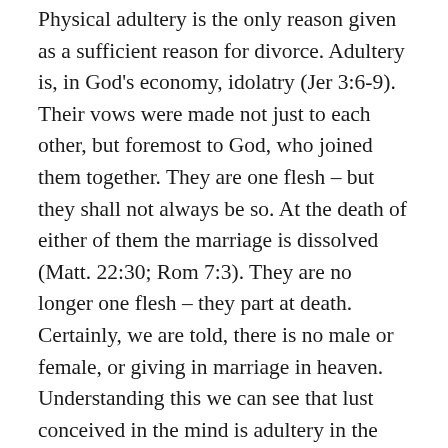Physical adultery is the only reason given as a sufficient reason for divorce. Adultery is, in God's economy, idolatry (Jer 3:6-9). Their vows were made not just to each other, but foremost to God, who joined them together. They are one flesh – but they shall not always be so. At the death of either of them the marriage is dissolved (Matt. 22:30; Rom 7:3). They are no longer one flesh – they part at death. Certainly, we are told, there is no male or female, or giving in marriage in heaven. Understanding this we can see that lust conceived in the mind is adultery in the spirit, and is against God alone, not against the spouse. Otherwise, first, any marriage is at any time in peril of divorce, as men and women occasionally fall into the sin of lust even if for the briefest of moments. Second, the allegation might be impossible to prove, especially with the required two witnesses. Because physical